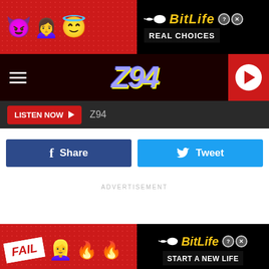[Figure (screenshot): BitLife advertisement banner with emojis (devil, girl, angel) and text 'BitLife REAL CHOICES' on red/black background]
[Figure (screenshot): Z94 radio station navigation bar with hamburger menu, Z94 logo, and red play button]
[Figure (screenshot): Listen Now bar with red button and Z94 label]
[Figure (screenshot): Facebook Share and Twitter Tweet social sharing buttons]
ADVERTISEMENT
[Figure (screenshot): BitLife advertisement banner at bottom with FAIL text, girl emoji, flames, and 'BitLife START A NEW LIFE' on red/black background]